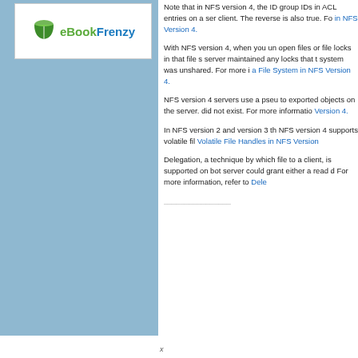[Figure (logo): eBookFrenzy logo with green book icon and blue/green text]
Note that in NFS version 4, the ID group IDs in ACL entries on a server client. The reverse is also true. For more information, refer to in NFS Version 4.
With NFS version 4, when you unshare open files or file locks in that file system, server maintained any locks that the system was unshared. For more information, refer to Unsharing a File System in NFS Version 4.
NFS version 4 servers use a pseudo filesystem to exported objects on the server, as if they did not exist. For more information, refer to Version 4.
In NFS version 2 and version 3 the file handles. NFS version 4 supports volatile file handles. For more information, refer to Volatile File Handles in NFS Version.
Delegation, a technique by which the server grants a file to a client, is supported on both the client. The server could grant either a read delegation or a write delegation. For more information, refer to Delegation in the Solaris Operating System.